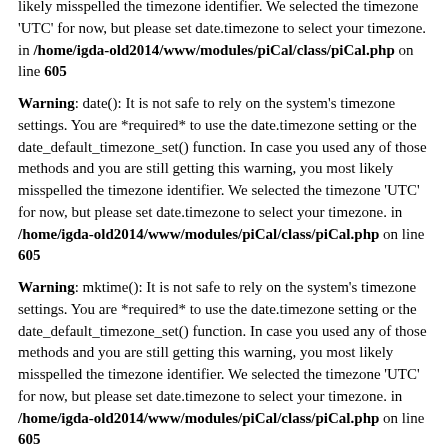likely misspelled the timezone identifier. We selected the timezone 'UTC' for now, but please set date.timezone to select your timezone. in /home/igda-old2014/www/modules/piCal/class/piCal.php on line 605
Warning: date(): It is not safe to rely on the system's timezone settings. You are *required* to use the date.timezone setting or the date_default_timezone_set() function. In case you used any of those methods and you are still getting this warning, you most likely misspelled the timezone identifier. We selected the timezone 'UTC' for now, but please set date.timezone to select your timezone. in /home/igda-old2014/www/modules/piCal/class/piCal.php on line 605
Warning: mktime(): It is not safe to rely on the system's timezone settings. You are *required* to use the date.timezone setting or the date_default_timezone_set() function. In case you used any of those methods and you are still getting this warning, you most likely misspelled the timezone identifier. We selected the timezone 'UTC' for now, but please set date.timezone to select your timezone. in /home/igda-old2014/www/modules/piCal/class/piCal.php on line 605
Warning: date(): It is not safe to rely on the system's timezone settings. You are *required* to use the date.timezone setting or the date_default_timezone_set() function. In case you used any of those methods and you are...